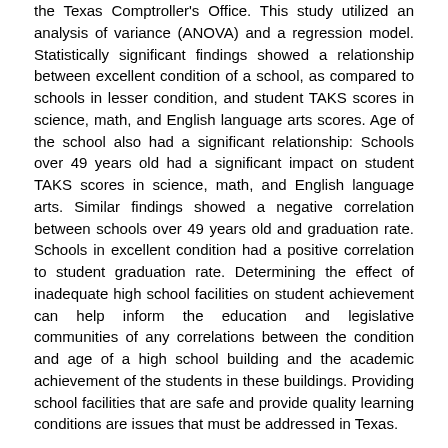the Texas Comptroller's Office. This study utilized an analysis of variance (ANOVA) and a regression model. Statistically significant findings showed a relationship between excellent condition of a school, as compared to schools in lesser condition, and student TAKS scores in science, math, and English language arts scores. Age of the school also had a significant relationship: Schools over 49 years old had a significant impact on student TAKS scores in science, math, and English language arts. Similar findings showed a negative correlation between schools over 49 years old and graduation rate. Schools in excellent condition had a positive correlation to student graduation rate. Determining the effect of inadequate high school facilities on student achievement can help inform the education and legislative communities of any correlations between the condition and age of a high school building and the academic achievement of the students in these buildings. Providing school facilities that are safe and provide quality learning conditions are issues that must be addressed in Texas.
Department
Educational Administration
Description